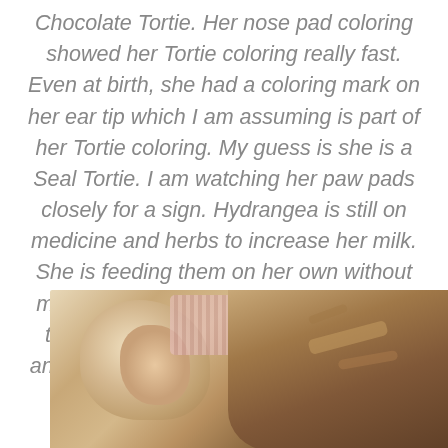Chocolate Tortie.  Her nose pad coloring showed her Tortie coloring really fast.  Even at birth, she had a coloring mark on her ear tip which I am assuming is part of her Tortie coloring.   My guess is she is a Seal Tortie.  I am watching her paw pads closely for a sign.   Hydrangea is still on medicine and herbs to increase her milk.  She is feeding them on her own without my supplementing feeding them.  In fact they don't even like the nipple syringe anymore.  She is a great mother and nice and protective.
[Figure (photo): Close-up photo of a cat, showing a light-colored cat ear on the left and a darker tortoiseshell-patterned cat on the right, lying on fabric.]